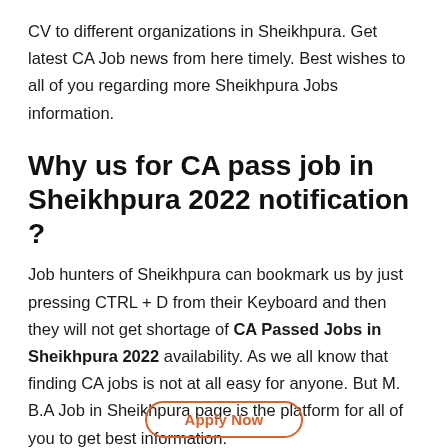CV to different organizations in Sheikhpura. Get latest CA Job news from here timely. Best wishes to all of you regarding more Sheikhpura Jobs information.
Why us for CA pass job in Sheikhpura 2022 notification ?
Job hunters of Sheikhpura can bookmark us by just pressing CTRL + D from their Keyboard and then they will not get shortage of CA Passed Jobs in Sheikhpura 2022 availability. As we all know that finding CA jobs is not at all easy for anyone. But M. B.A Job in Sheikhpura page is the platform for all of you to get best information.